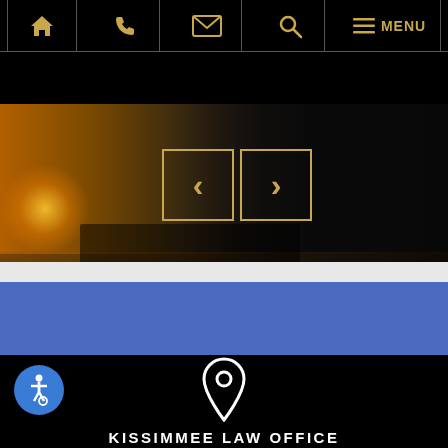[Figure (screenshot): Law firm website screenshot showing navigation bar with home, phone, email, search, and menu icons in gold on black background]
[Figure (photo): Hero image showing a sunset waterfront scene with golden/orange light on the left fading to dark on the right, with carousel navigation arrows (< and >) in gold outline]
[Figure (other): Blue content section below the hero image]
[Figure (other): Black footer area with accessibility icon (wheelchair symbol in blue circle), white map location pin SVG icon, and text KISSIMMEE LAW OFFICE in white bold letters]